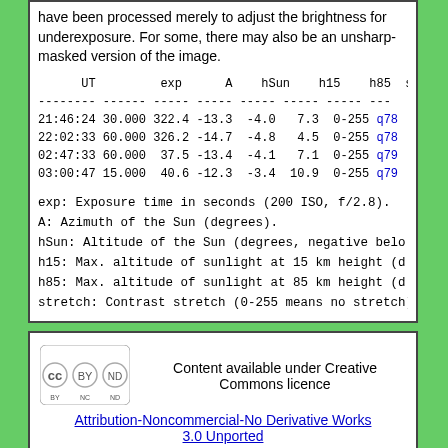have been processed merely to adjust the brightness for underexposure. For some, there may also be an unsharp-masked version of the image.
| UT | exp | A | hSun | h15 | h85 | stretch | i |
| --- | --- | --- | --- | --- | --- | --- | --- |
| 21:46:24 | 30.000 | 322.4 | -13.3 | -4.0 | 7.3 | 0-255 | q78 |
| 22:02:33 | 60.000 | 326.2 | -14.7 | -4.8 | 4.5 | 0-255 | q78 |
| 02:47:33 | 60.000 | 37.5 | -13.4 | -4.1 | 7.1 | 0-255 | q79 |
| 03:00:47 | 15.000 | 40.6 | -12.3 | -3.4 | 10.9 | 0-255 | q79 |
exp: Exposure time in seconds (200 ISO, f/2.8).
A: Azimuth of the Sun (degrees).
hSun: Altitude of the Sun (degrees, negative below)
h15: Max. altitude of sunlight at 15 km height (de
h85: Max. altitude of sunlight at 85 km height (de
stretch: Contrast stretch (0-255 means no stretch)
Content available under Creative Commons licence
Attribution-Noncommercial-No Derivative Works 3.0 Unported
{ Impressum and more | Site map }